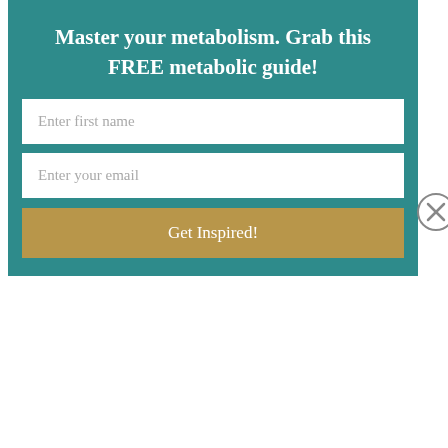Master your metabolism. Grab this FREE metabolic guide!
Enter first name
Enter your email
Get Inspired!
I have to be tough with my clients. While it may be hard to hear, my clients oftentimes tell me how much they appreciate that.
In today’s blog, I’m revealing 4 common objections to natural medicine I frequently hear from business professionals.